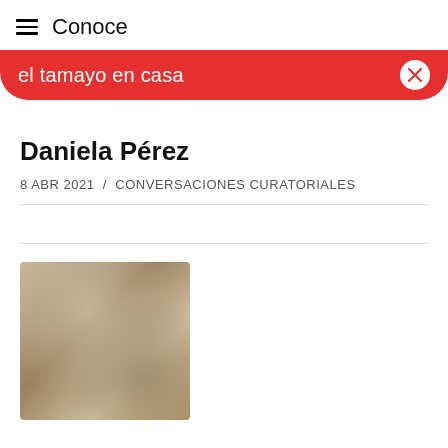≡  Conoce
el tamayo en casa
Daniela Pérez
8 ABR 2021  /  CONVERSACIONES CURATORIALES
[Figure (photo): Blurred warm-toned photograph, partial view, tan and beige tones]